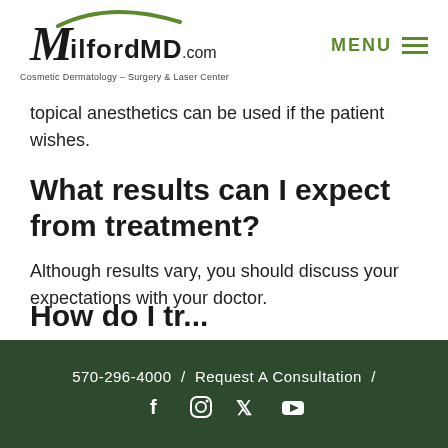MilfordMD.com Cosmetic Dermatology – Surgery & Laser Center | MENU
topical anesthetics can be used if the patient wishes.
What results can I expect from treatment?
Although results vary, you should discuss your expectations with your doctor.
570-296-4000 / Request A Consultation / [social icons: Facebook, Instagram, Twitter, YouTube]